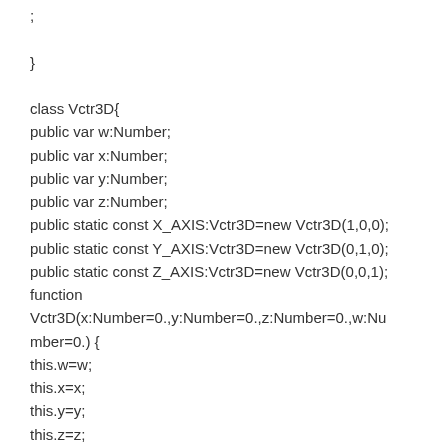;

}

class Vctr3D{
public var w:Number;
public var x:Number;
public var y:Number;
public var z:Number;
public static const X_AXIS:Vctr3D=new Vctr3D(1,0,0);
public static const Y_AXIS:Vctr3D=new Vctr3D(0,1,0);
public static const Z_AXIS:Vctr3D=new Vctr3D(0,0,1);
function Vctr3D(x:Number=0.,y:Number=0.,z:Number=0.,w:Number=0.) {
this.w=w;
this.x=x;
this.y=y;
this.z=z;
}